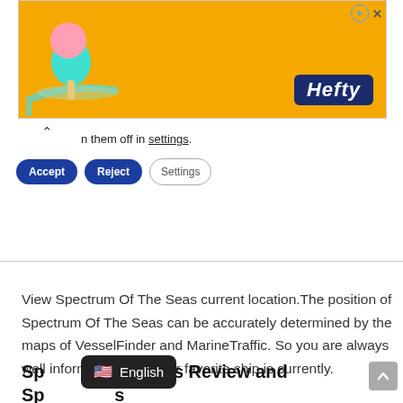[Figure (illustration): Orange advertisement banner with ice cream illustration and Hefty logo, with close/play buttons in top right]
n them off in settings.
[Figure (screenshot): Cookie consent bar with Accept, Reject, and Settings buttons]
View Spectrum Of The Seas current location.The position of Spectrum Of The Seas can be accurately determined by the maps of VesselFinder and MarineTraffic. So you are always well informed, where your favorite ship is currently.
Sp  The Seas Review and Sp  s
[Figure (screenshot): Language selector overlay showing US flag and English label]
[Figure (screenshot): Scroll-to-top gray button with upward arrow]